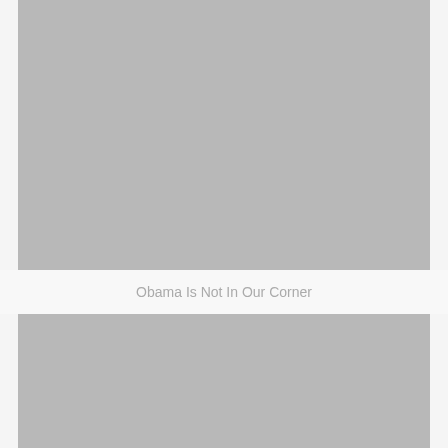[Figure (photo): Gray placeholder photo at top of page]
Obama Is Not In Our Corner
[Figure (photo): Gray placeholder photo at bottom of page]